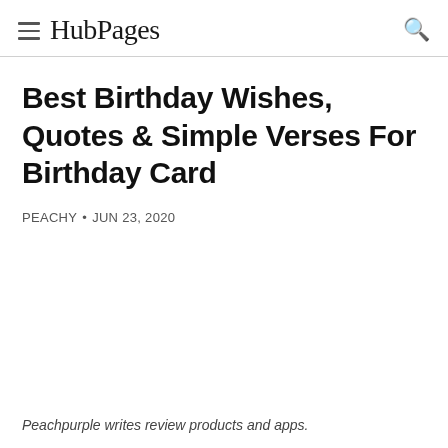HubPages
Best Birthday Wishes, Quotes & Simple Verses For Birthday Card
PEACHY • JUN 23, 2020
Peachpurple writes review products and apps.